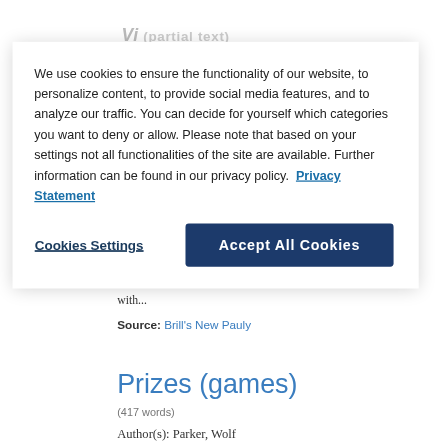We use cookies to ensure the functionality of our website, to personalize content, to provide social media features, and to analyze our traffic. You can decide for yourself which categories you want to deny or allow. Please note that based on your settings not all functionalities of the site are available. Further information can be found in our privacy policy.  Privacy Statement
Cookies Settings   Accept All Cookies
from Caulonia, Paus. 6,3,11) for all h with...
Source: Brill's New Pauly
Prizes (games)
(417 words)
Author(s): Parker, Wolf...